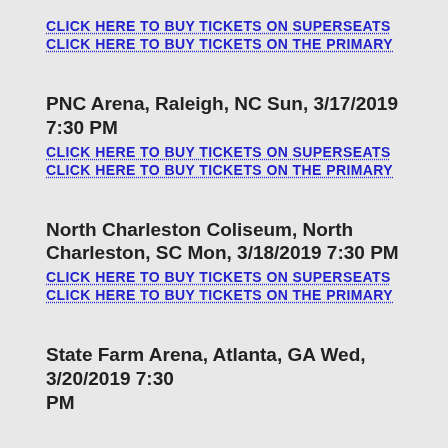CLICK HERE TO BUY TICKETS ON SUPERSEATS
CLICK HERE TO BUY TICKETS ON THE PRIMARY
PNC Arena, Raleigh, NC Sun, 3/17/2019 7:30 PM
CLICK HERE TO BUY TICKETS ON SUPERSEATS
CLICK HERE TO BUY TICKETS ON THE PRIMARY
North Charleston Coliseum, North Charleston, SC Mon, 3/18/2019 7:30 PM
CLICK HERE TO BUY TICKETS ON SUPERSEATS
CLICK HERE TO BUY TICKETS ON THE PRIMARY
State Farm Arena, Atlanta, GA Wed, 3/20/2019 7:30 PM